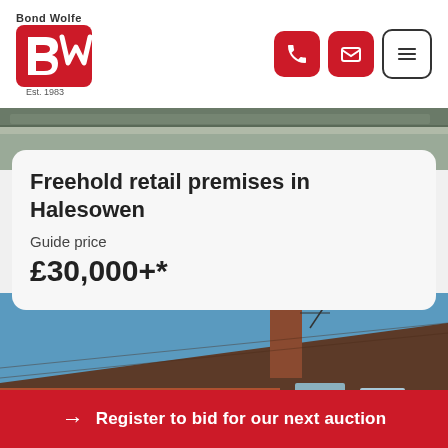[Figure (logo): Bond Wolfe logo with red BW icon and text 'Bond Wolfe', 'Est. 1983']
[Figure (other): Navigation icons: phone, email, hamburger menu buttons in red]
[Figure (photo): Top strip photo of a rooftop/gutter area]
Freehold retail premises in Halesowen
Guide price
£30,000+*
[Figure (photo): Photo of a red brick building with roof, chimney, and blue sky]
→ Register to bid for our next auction